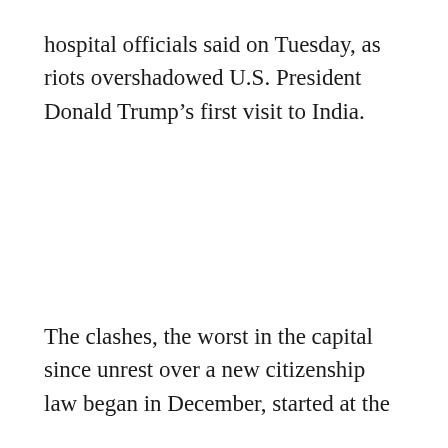hospital officials said on Tuesday, as riots overshadowed U.S. President Donald Trump’s first visit to India.
The clashes, the worst in the capital since unrest over a new citizenship law began in December, started at the